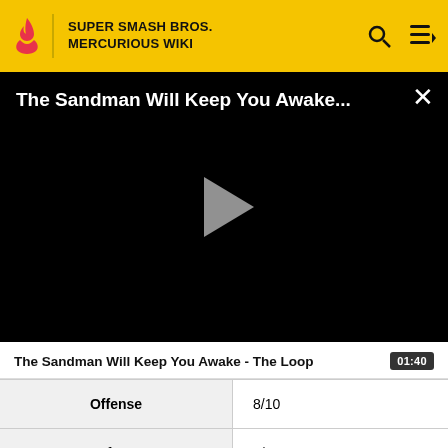SUPER SMASH BROS. MERCURIOUS WIKI
[Figure (screenshot): Video player with black background showing title 'The Sandman Will Keep You Awake...' with a grey play button in the center and an X close button in the top right.]
The Sandman Will Keep You Awake - The Loop  01:40
| Offense | 8/10 |
| Defense | 8/10 |